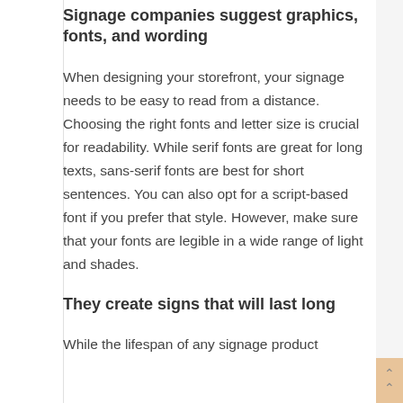Signage companies suggest graphics, fonts, and wording
When designing your storefront, your signage needs to be easy to read from a distance. Choosing the right fonts and letter size is crucial for readability. While serif fonts are great for long texts, sans-serif fonts are best for short sentences. You can also opt for a script-based font if you prefer that style. However, make sure that your fonts are legible in a wide range of light and shades.
They create signs that will last long
While the lifespan of any signage product